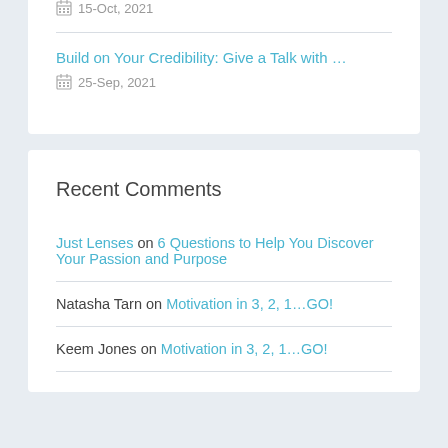15-Oct, 2021
Build on Your Credibility: Give a Talk with …
25-Sep, 2021
Recent Comments
Just Lenses on 6 Questions to Help You Discover Your Passion and Purpose
Natasha Tarn on Motivation in 3, 2, 1…GO!
Keem Jones on Motivation in 3, 2, 1…GO!